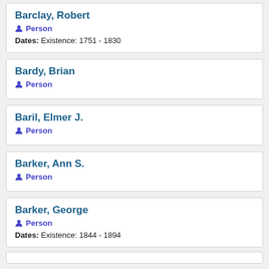Barclay, Robert
Person
Dates: Existence: 1751 - 1830
Bardy, Brian
Person
Baril, Elmer J.
Person
Barker, Ann S.
Person
Barker, George
Person
Dates: Existence: 1844 - 1894
(partial card at bottom)